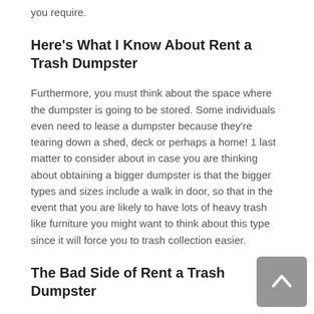you require.
Here's What I Know About Rent a Trash Dumpster
Furthermore, you must think about the space where the dumpster is going to be stored. Some individuals even need to lease a dumpster because they're tearing down a shed, deck or perhaps a home! 1 last matter to consider about in case you are thinking about obtaining a bigger dumpster is that the bigger types and sizes include a walk in door, so that in the event that you are likely to have lots of heavy trash like furniture you might want to think about this type since it will force you to trash collection easier.
The Bad Side of Rent a Trash Dumpster
Should you be likely to have a really large sum of trash, then you are in need of a dumpster. Should you be unsure about the sort of dumpster you have to rent, please don't hesitate to get in contact with us so we can help you. The first step you will want to be